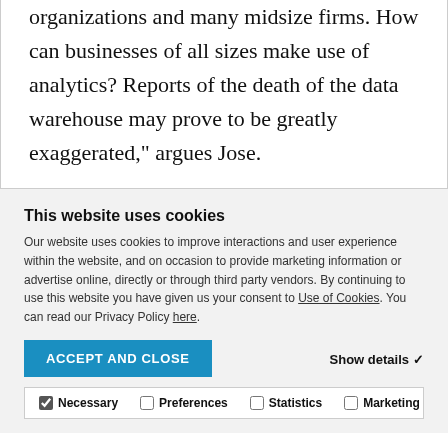organizations and many midsize firms. How can businesses of all sizes make use of analytics? Reports of the death of the data warehouse may prove to be greatly exaggerated,” argues Jose.
This website uses cookies
Our website uses cookies to improve interactions and user experience within the website, and on occasion to provide marketing information or advertise online, directly or through third party vendors. By continuing to use this website you have given us your consent to Use of Cookies. You can read our Privacy Policy here.
ACCEPT AND CLOSE
Show details
Necessary   Preferences   Statistics   Marketing